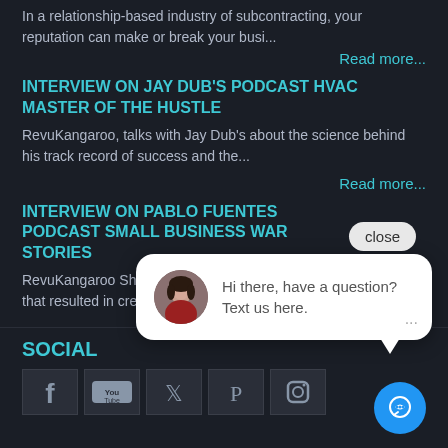In a relationship-based industry of subcontracting, your reputation can make or break your busi...
Read more...
INTERVIEW ON JAY DUB'S PODCAST HVAC MASTER OF THE HUSTLE
RevuKangaroo, talks with Jay Dub's about the science behind his track record of success and the...
Read more...
INTERVIEW ON PABLO FUENTES PODCAST SMALL BUSINESS WAR STORIES
RevuKangaroo Sha... that resulted in crea...
[Figure (screenshot): Chat widget overlay with close button, avatar of a woman, and message 'Hi there, have a question? Text us here.']
SOCIAL
[Figure (infographic): Social media icons: Facebook, YouTube, Twitter, Pinterest, Instagram]